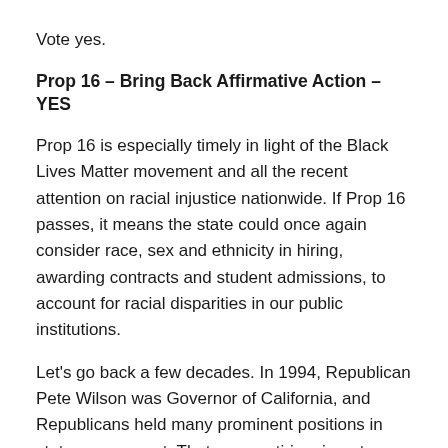Vote yes.
Prop 16 – Bring Back Affirmative Action – YES
Prop 16 is especially timely in light of the Black Lives Matter movement and all the recent attention on racial injustice nationwide. If Prop 16 passes, it means the state could once again consider race, sex and ethnicity in hiring, awarding contracts and student admissions, to account for racial disparities in our public institutions.
Let's go back a few decades. In 1994, Republican Pete Wilson was Governor of California, and Republicans held many prominent positions in state government. That year, anti-immigrant sentiment had reached a boiling point, and the voters of California approved Prop 187, which established a state-run citizenship screening system and